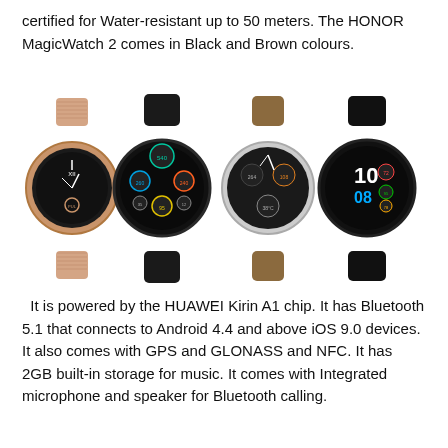certified for Water-resistant up to 50 meters. The HONOR MagicWatch 2 comes in Black and Brown colours.
[Figure (photo): Four HONOR MagicWatch 2 smartwatches displayed side by side. From left to right: a rose-gold watch with mesh band, a black watch with dark sports band, a watch with brown leather band, and a black watch with black sports band showing a digital clock face.]
It is powered by the HUAWEI Kirin A1 chip. It has Bluetooth 5.1 that connects to Android 4.4 and above iOS 9.0 devices. It also comes with GPS and GLONASS and NFC. It has 2GB built-in storage for music. It comes with Integrated microphone and speaker for Bluetooth calling.